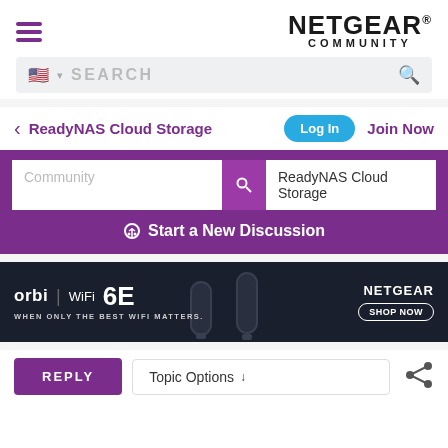[Figure (logo): NETGEAR COMMUNITY logo with hamburger menu icon on the left]
[Figure (screenshot): Search bar with US flag, SEARCH placeholder text and magnifying glass icon]
< ReadyNAS Cloud Storage   Log In   Join Now
[Figure (screenshot): Purple section with Community search input, ReadyNAS Cloud Storage label, and Start a New Discussion button]
[Figure (infographic): Advertisement banner for Netgear Orbi WiFi 6E - WHEN ONLY THE BEST WIFI MATTERS. SHOP NOW]
[Figure (screenshot): Bottom bar with REPLY button, Topic Options dropdown and share icon]